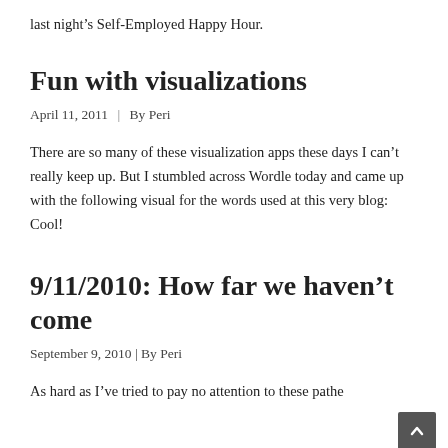last night’s Self-Employed Happy Hour.
Fun with visualizations
April 11, 2011  |  By Peri
There are so many of these visualization apps these days I can’t really keep up. But I stumbled across Wordle today and came up with the following visual for the words used at this very blog: Cool!
9/11/2010: How far we haven’t come
September 9, 2010  |  By Peri
As hard as I’ve tried to pay no attention to these pathe